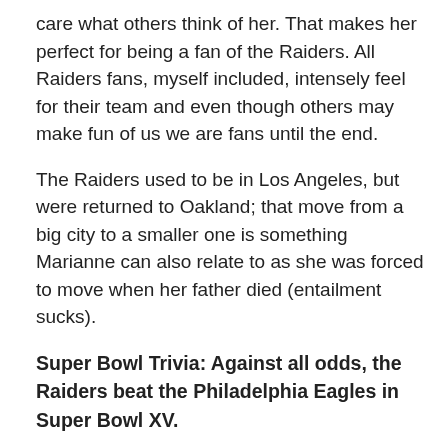care what others think of her. That makes her perfect for being a fan of the Raiders. All Raiders fans, myself included, intensely feel for their team and even though others may make fun of us we are fans until the end.
The Raiders used to be in Los Angeles, but were returned to Oakland; that move from a big city to a smaller one is something Marianne can also relate to as she was forced to move when her father died (entailment sucks).
Super Bowl Trivia: Against all odds, the Raiders beat the Philadelphia Eagles in Super Bowl XV.
For more on Marianne Dashwood, go to It Doesn't Exist
[Figure (illustration): Decorative ornamental scroll divider in black]